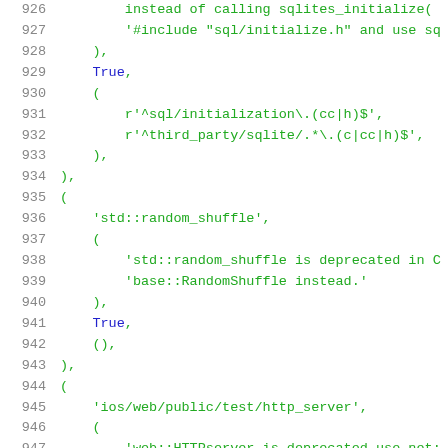[Figure (screenshot): Source code listing showing Python code lines 926-947 with line numbers on the left in gray, keywords like True in blue, and string/code content in green monospace font.]